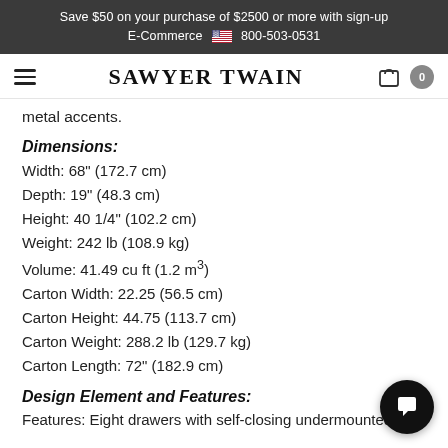Save $50 on your purchase of $2500 or more with sign-up
E-Commerce 🇺🇸 800-503-0531
SAWYER TWAIN
metal accents.
Dimensions:
Width: 68" (172.7 cm)
Depth: 19" (48.3 cm)
Height: 40 1/4" (102.2 cm)
Weight: 242 lb (108.9 kg)
Volume: 41.49 cu ft (1.2 m³)
Carton Width: 22.25 (56.5 cm)
Carton Height: 44.75 (113.7 cm)
Carton Weight: 288.2 lb (129.7 kg)
Carton Length: 72" (182.9 cm)
Design Element and Features:
Features: Eight drawers with self-closing undermounted